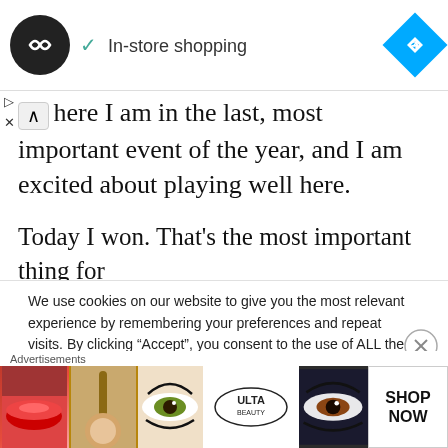[Figure (screenshot): Top bar with logo (dark circle with infinity-like symbol), checkmark 'In-store shopping' text, and blue navigation diamond icon]
here I am in the last, most important event of the year, and I am excited about playing well here.
Today I won. That's the most important thing for
We use cookies on our website to give you the most relevant experience by remembering your preferences and repeat visits. By clicking “Accept”, you consent to the use of ALL the cookies.
Do not sell my personal information
Advertisements
[Figure (screenshot): ULTA beauty advertisement banner with makeup images and SHOP NOW button]